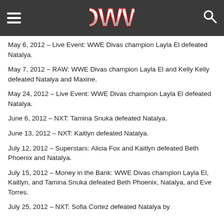OWW
May 6, 2012 – Live Event: WWE Divas champion Layla El defeated Natalya.
May 7, 2012 – RAW: WWE Divas champion Layla El and Kelly Kelly defeated Natalya and Maxine.
May 24, 2012 – Live Event: WWE Divas champion Layla El defeated Natalya.
June 6, 2012 – NXT: Tamina Snuka defeated Natalya.
June 13, 2012 – NXT: Kaitlyn defeated Natalya.
July 12, 2012 – Superstars: Alicia Fox and Kaitlyn defeated Beth Phoenix and Natalya.
July 15, 2012 – Money in the Bank: WWE Divas champion Layla El, Kaitlyn, and Tamina Snuka defeated Beth Phoenix, Natalya, and Eve Torres.
July 25, 2012 – NXT: Sofia Cortez defeated Natalya by